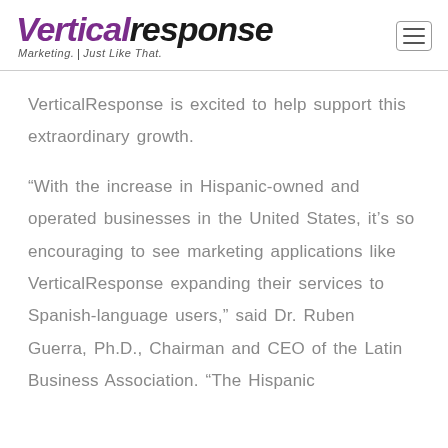VerticalResponse — Marketing. Just Like That.
VerticalResponse is excited to help support this extraordinary growth.
“With the increase in Hispanic-owned and operated businesses in the United States, it’s so encouraging to see marketing applications like VerticalResponse expanding their services to Spanish-language users,” said Dr. Ruben Guerra, Ph.D., Chairman and CEO of the Latin Business Association. “The Hispanic